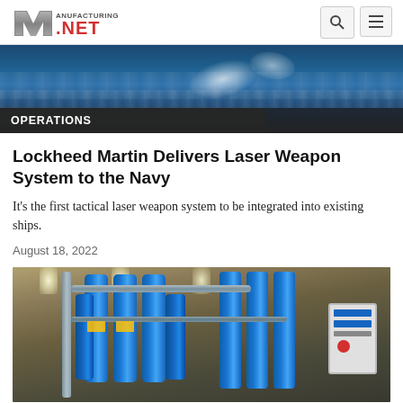Manufacturing.NET
[Figure (photo): Partial view of an ocean/sea scene with a ship or vessel, photo partially scrolled off top]
OPERATIONS
Lockheed Martin Delivers Laser Weapon System to the Navy
It's the first tactical laser weapon system to be integrated into existing ships.
August 18, 2022
[Figure (photo): Industrial laser weapon system equipment — blue cylindrical tanks and piping in a warehouse/shipyard facility]